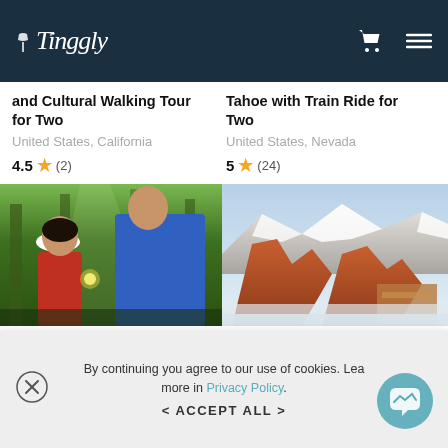Tinggly
and Cultural Walking Tour for Two
United States, California
4.5 ★ (2)
Tahoe with Train Ride for Two
United States, Nevada
5 ★ (24)
[Figure (photo): Two people outdoors in a forest setting, woman in red shirt and white cap, man in blue t-shirt]
[Figure (photo): Red rock formations with snow-covered mountains in background, winter landscape]
Introduction to Wilderness Survival Clinic in Santa Cruz
Foothills Explorer Tour From Denver for Two
By continuing you agree to our use of cookies. Lea more in Privacy Policy.
< ACCEPT ALL >